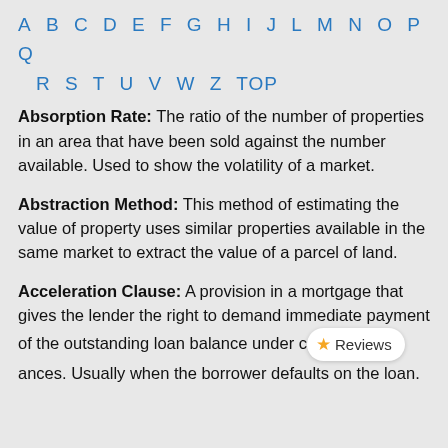A B C D E F G H I J L M N O P Q R S T U V W Z TOP
Absorption Rate: The ratio of the number of properties in an area that have been sold against the number available. Used to show the volatility of a market.
Abstraction Method: This method of estimating the value of property uses similar properties available in the same market to extract the value of a parcel of land.
Acceleration Clause: A provision in a mortgage that gives the lender the right to demand immediate payment of the outstanding loan balance under certain circumstances. Usually when the borrower defaults on the loan.